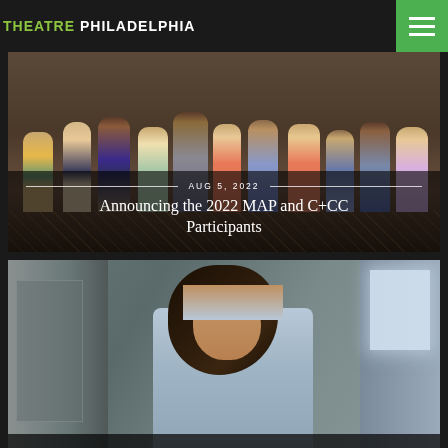THEATRE PHILADELPHIA
[Figure (photo): Group photo of multiple people standing together in a room, with name tags, overlaid with date and article title text]
AUG 5, 2022
Announcing the 2022 MAP and C+CC Participants
[Figure (photo): Portrait of a young woman with long dark hair wearing a light blue sleeveless top, standing against a stone or concrete wall with window light]